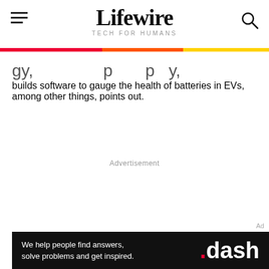Lifewire TECH FOR HUMANS
builds software to gauge the health of batteries in EVs, among other things, points out.
Advertisement
Ad
We help people find answers, solve problems and get inspired. .dash